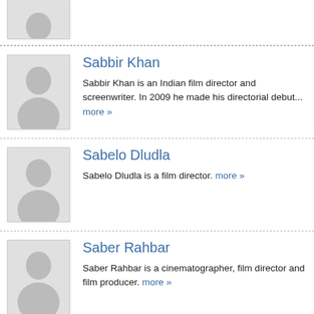[Figure (photo): Placeholder silhouette avatar (top partial entry, cropped)]
[Figure (photo): Placeholder silhouette avatar for Sabbir Khan]
Sabbir Khan
Sabbir Khan is an Indian film director and screenwriter. In 2009 he made his directorial debut... more »
[Figure (photo): Placeholder silhouette avatar for Sabelo Dludla]
Sabelo Dludla
Sabelo Dludla is a film director. more »
[Figure (photo): Placeholder silhouette avatar for Saber Rahbar]
Saber Rahbar
Saber Rahbar is a cinematographer, film director and film producer. more »
[Figure (photo): Placeholder silhouette avatar (bottom partial entry, cropped)]